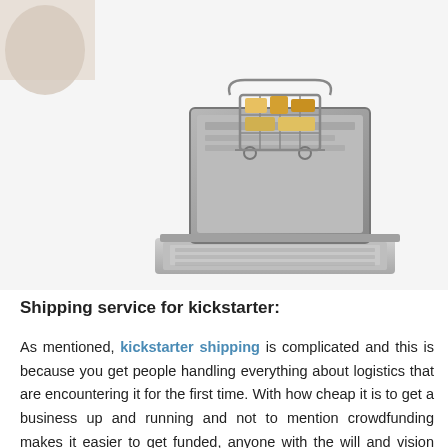[Figure (photo): Photo of a shopping cart with grocery items sitting on top of an open laptop computer, representing e-commerce and online shopping.]
Shipping service for kickstarter:
As mentioned, kickstarter shipping is complicated and this is because you get people handling everything about logistics that are encountering it for the first time. With how cheap it is to get a business up and running and not to mention crowdfunding makes it easier to get funded, anyone with the will and vision can easily make it happen even people that don't know a thing or two about the complicated word of logistics. The problem is